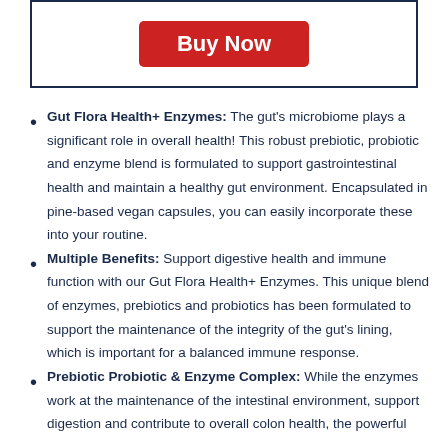[Figure (screenshot): Buy Now button inside a dark blue bordered box]
Gut Flora Health+ Enzymes: The gut's microbiome plays a significant role in overall health! This robust prebiotic, probiotic and enzyme blend is formulated to support gastrointestinal health and maintain a healthy gut environment. Encapsulated in pine-based vegan capsules, you can easily incorporate these into your routine.
Multiple Benefits: Support digestive health and immune function with our Gut Flora Health+ Enzymes. This unique blend of enzymes, prebiotics and probiotics has been formulated to support the maintenance of the integrity of the gut's lining, which is important for a balanced immune response.
Prebiotic Probiotic & Enzyme Complex: While the enzymes work at the maintenance of the intestinal environment, support digestion and contribute to overall colon health, the powerful